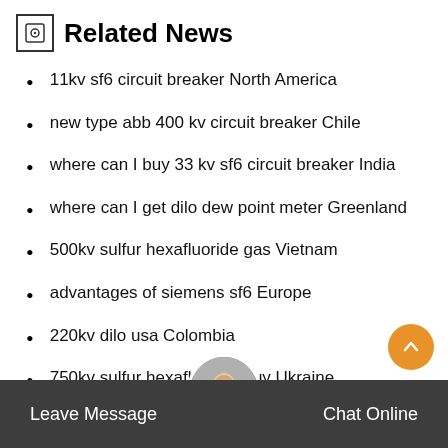Related News
11kv sf6 circuit breaker North America
new type abb 400 kv circuit breaker Chile
where can I buy 33 kv sf6 circuit breaker India
where can I get dilo dew point meter Greenland
500kv sulfur hexafluoride gas Vietnam
advantages of siemens sf6 Europe
220kv dilo usa Colombia
750kv sulfur hexafluoride buy Ukraine
Brochure sf6 dilo Thailand
40 5kv sf6 gas in circuit breakers Denmark
110kv abb 66 kv sf6 circuit breaker South America
750kv acb vcb sf6 Russia
new type dilo inc Sweden
Leave Message  Chat Online